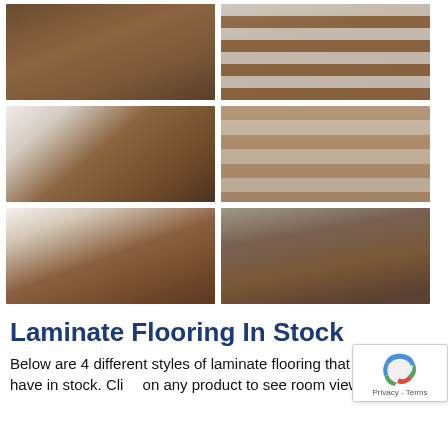[Figure (photo): Six photos of laminate flooring installations arranged in a 2x3 grid. Top row: a room floor view and staircase. Middle row: hallway/transition area and stair steps close-up. Bottom row: hallway floor view and another flooring/staircase transition.]
Laminate Flooring In Stock
Below are 4 different styles of laminate flooring that we currently have in stock. Cli... on any product to see room views. Please